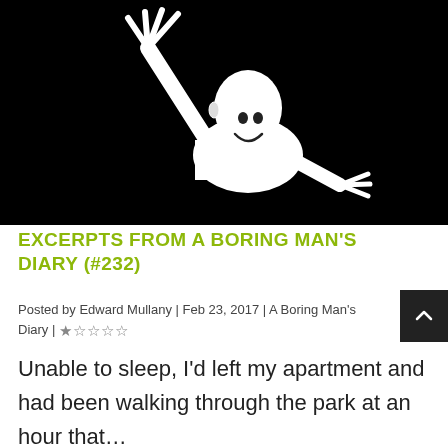[Figure (illustration): Black and white illustration of a bald figure with arms raised, drawn in a sketchy style against a black background]
EXCERPTS FROM A BORING MAN'S DIARY (#232)
Posted by Edward Mullany | Feb 23, 2017 | A Boring Man's Diary | ★☆☆☆☆
Unable to sleep, I'd left my apartment and had been walking through the park at an hour that...